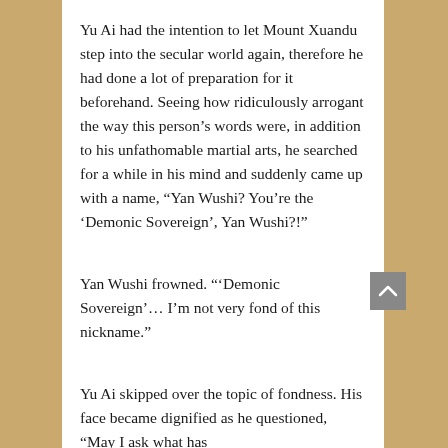Yu Ai had the intention to let Mount Xuandu step into the secular world again, therefore he had done a lot of preparation for it beforehand. Seeing how ridiculously arrogant the way this person's words were, in addition to his unfathomable martial arts, he searched for a while in his mind and suddenly came up with a name, “Yan Wushi? You’re the ‘Demonic Sovereign’, Yan Wushi?!”
Yan Wushi frowned. “‘Demonic Sovereign’… I’m not very fond of this nickname.”
Yu Ai skipped over the topic of fondness. His face became dignified as he questioned, “May I ask what has